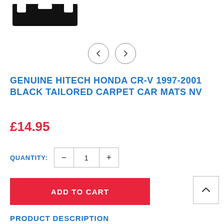[Figure (photo): Black tailored car mats product image showing floor mat shapes]
[Figure (other): Navigation arrows (left chevron and right chevron) for image carousel]
GENUINE HITECH HONDA CR-V 1997-2001 BLACK TAILORED CARPET CAR MATS NV
£14.95
QUANTITY: 1
ADD TO CART
PRODUCT DESCRIPTION